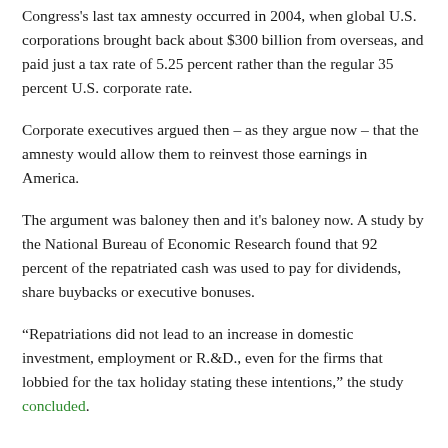Congress's last tax amnesty occurred in 2004, when global U.S. corporations brought back about $300 billion from overseas, and paid just a tax rate of 5.25 percent rather than the regular 35 percent U.S. corporate rate.
Corporate executives argued then – as they argue now – that the amnesty would allow them to reinvest those earnings in America.
The argument was baloney then and it's baloney now. A study by the National Bureau of Economic Research found that 92 percent of the repatriated cash was used to pay for dividends, share buybacks or executive bonuses.
“Repatriations did not lead to an increase in domestic investment, employment or R.&D., even for the firms that lobbied for the tax holiday stating these intentions,” the study concluded.